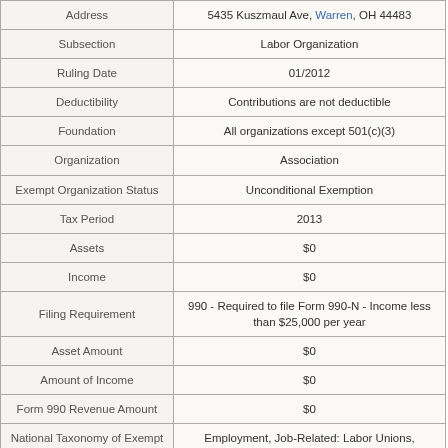| Field | Value |
| --- | --- |
| Address | 5435 Kuszmaul Ave, Warren, OH 44483 |
| Subsection | Labor Organization |
| Ruling Date | 01/2012 |
| Deductibility | Contributions are not deductible |
| Foundation | All organizations except 501(c)(3) |
| Organization | Association |
| Exempt Organization Status | Unconditional Exemption |
| Tax Period | 2013 |
| Assets | $0 |
| Income | $0 |
| Filing Requirement | 990 - Required to file Form 990-N - Income less than $25,000 per year |
| Asset Amount | $0 |
| Amount of Income | $0 |
| Form 990 Revenue Amount | $0 |
| National Taxonomy of Exempt Entities (NTEE) | Employment, Job-Related: Labor Unions, Organizations |